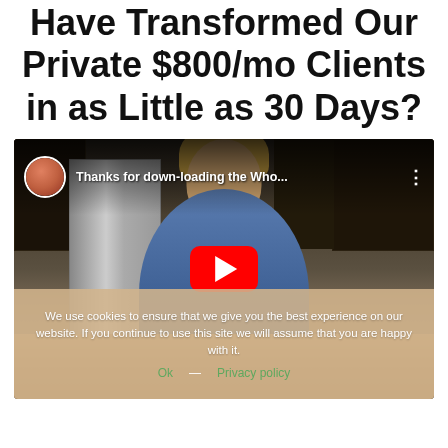Have Transformed Our Private $800/mo Clients in as Little as 30 Days?
[Figure (screenshot): YouTube video embed showing a blonde woman in a kitchen, with a YouTube play button overlay. The video title bar reads 'Thanks for down-loading the Who...' with a circular avatar photo. A cookie consent overlay is visible at the bottom reading: 'We use cookies to ensure that we give you the best experience on our website. If you continue to use this site we will assume that you are happy with it.' with 'Ok' and 'Privacy policy' links.]